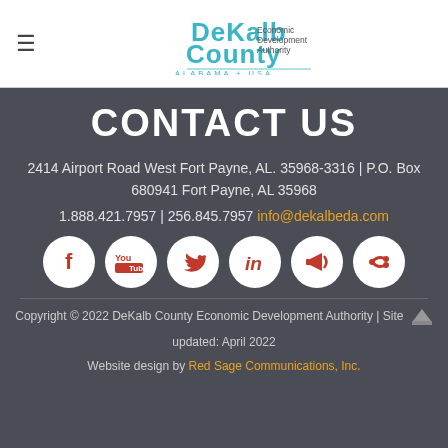DeKalb County Economic Development Authority Alabama USA
CONTACT US
2414 Airport Road West Fort Payne, AL. 35968-3316 | P.O. Box 680941 Fort Payne, AL 35968
1.888.421.7957 | 256.845.7957 info@dekalbeda.com
[Figure (infographic): Six circular social media icons: Facebook, YouTube, Twitter, LinkedIn, Megaphone/Announcements, Share]
Copyright © 2022 DeKalb County Economic Development Authority | Site updated: April 2022 Website design by Red Sage Communications, Inc.